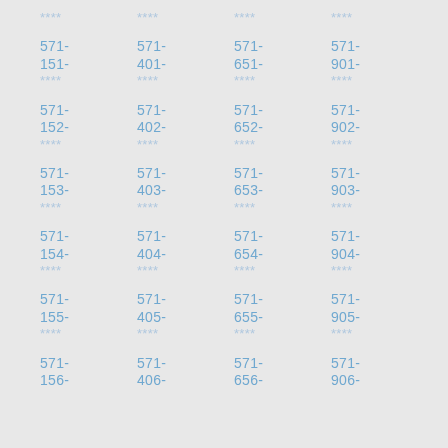****
****
****
****
571-
151-
****
571-
401-
****
571-
651-
****
571-
901-
****
571-
152-
****
571-
402-
****
571-
652-
****
571-
902-
****
571-
153-
****
571-
403-
****
571-
653-
****
571-
903-
****
571-
154-
****
571-
404-
****
571-
654-
****
571-
904-
****
571-
155-
****
571-
405-
****
571-
655-
****
571-
905-
****
571-
156-
571-
406-
571-
656-
571-
906-